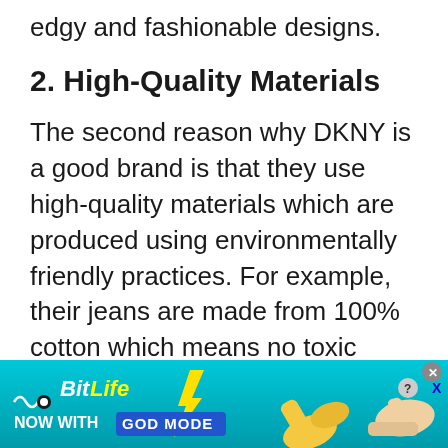edgy and fashionable designs.
2. High-Quality Materials
The second reason why DKNY is a good brand is that they use high-quality materials which are produced using environmentally friendly practices. For example, their jeans are made from 100% cotton which means no toxic chemicals were used during production processes such as pesticide spraying or dying
[Figure (screenshot): BitLife advertisement banner with blue background, BitLife logo, 'NOW WITH GOD MODE' text, thumbs up hand illustration, and close/help buttons in top right corner]